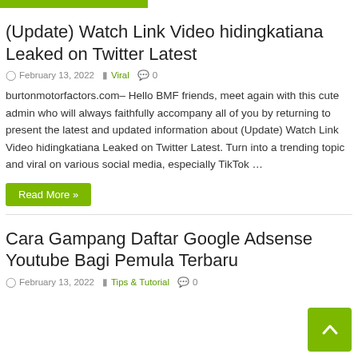[Figure (other): Green horizontal bar / tag indicator at top]
(Update) Watch Link Video hidingkatiana Leaked on Twitter Latest
February 13, 2022   Viral   0
burtonmotorfactors.com– Hello BMF friends, meet again with this cute admin who will always faithfully accompany all of you by returning to present the latest and updated information about (Update) Watch Link Video hidingkatiana Leaked on Twitter Latest. Turn into a trending topic and viral on various social media, especially TikTok …
Read More »
Cara Gampang Daftar Google Adsense Youtube Bagi Pemula Terbaru
February 13, 2022   Tips & Tutorial   0